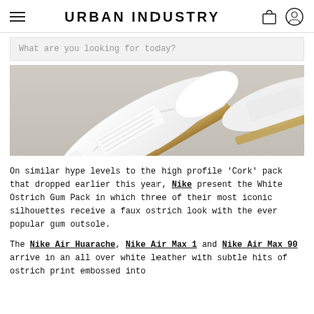URBAN INDUSTRY
What are you looking for today?
[Figure (photo): Close-up overhead photo of white Nike sneakers with gum/cork outsole on a light grey background]
On similar hype levels to the high profile 'Cork' pack that dropped earlier this year, Nike present the White Ostrich Gum Pack in which three of their most iconic silhouettes receive a faux ostrich look with the ever popular gum outsole.
The Nike Air Huarache, Nike Air Max 1 and Nike Air Max 90 arrive in an all over white leather with subtle hits of ostrich print embossed into